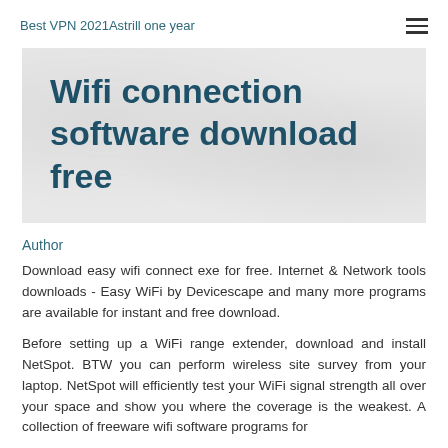Best VPN 2021Astrill one year
Wifi connection software download free
Author
Download easy wifi connect exe for free. Internet & Network tools downloads - Easy WiFi by Devicescape and many more programs are available for instant and free download.
Before setting up a WiFi range extender, download and install NetSpot. BTW you can perform wireless site survey from your laptop. NetSpot will efficiently test your WiFi signal strength all over your space and show you where the coverage is the weakest. A collection of freeware wifi software programs for